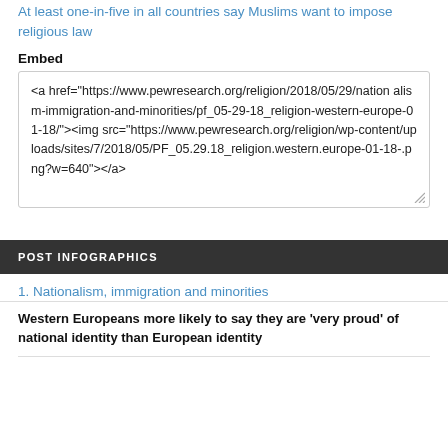At least one-in-five in all countries say Muslims want to impose religious law
Embed
<a href="https://www.pewresearch.org/religion/2018/05/29/nationalism-immigration-and-minorities/pf_05-29-18_religion-western-europe-01-18/"><img src="https://www.pewresearch.org/religion/wp-content/uploads/sites/7/2018/05/PF_05.29.18_religion.western.europe-01-18-.png?w=640"></a>
POST INFOGRAPHICS
1. Nationalism, immigration and minorities
Western Europeans more likely to say they are ‘very proud’ of national identity than European identity